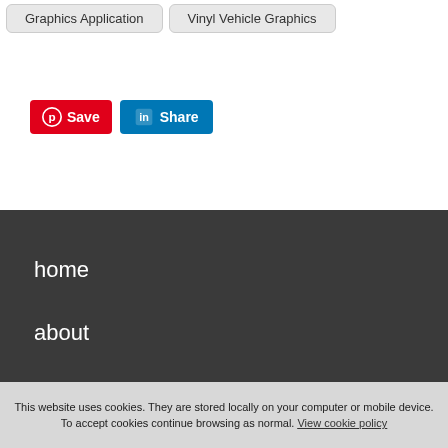Graphics Application
Vinyl Vehicle Graphics
[Figure (screenshot): Pinterest Save button and LinkedIn Share button]
home
about
services
testimonials
This website uses cookies. They are stored locally on your computer or mobile device. To accept cookies continue browsing as normal. View cookie policy